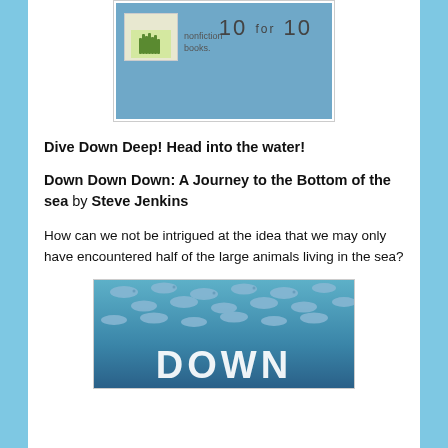[Figure (photo): Photo of a blue-toned book or poster showing 'nonfiction books' text and '10 for 10' with grass illustration card]
Dive Down Deep! Head into the water!
Down Down Down: A Journey to the Bottom of the sea by Steve Jenkins
How can we not be intrigued at the idea that we may only have encountered half of the large animals living in the sea?
[Figure (photo): Book cover of 'Down Down Down' by Steve Jenkins showing school of fish swimming underwater with large white text 'DOWN']